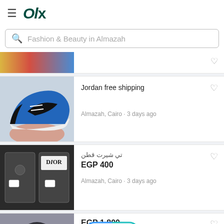[Figure (logo): OLX logo with hamburger menu icon]
Fashion & Beauty in Almazah
[Figure (photo): Partial listing image with colorful items at top]
Jordan free shipping
Almazah, Cairo · 3 days ago
[Figure (photo): Nike Air Jordan 1 blue/black sneaker held in hand]
تي شيرت قطن
EGP 400
Almazah, Cairo · 3 days ago
[Figure (photo): Dior t-shirts in plastic packaging]
[Figure (screenshot): + SELL button with teal/yellow/blue gradient border]
EGP 1,800
[Figure (photo): Partial watch listing image at bottom]